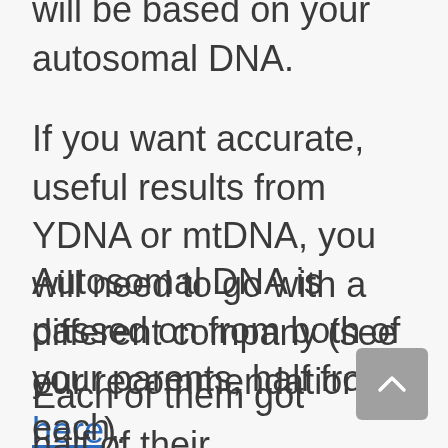will be based on your autosomal DNA.
If you want accurate, useful results from YDNA or mtDNA, you will need to go with a different company (see our recommendations here).
Autosomal DNA is passed on from both of your parents, half from each.
Each of them got half of their autosomal DNA from their parents, and